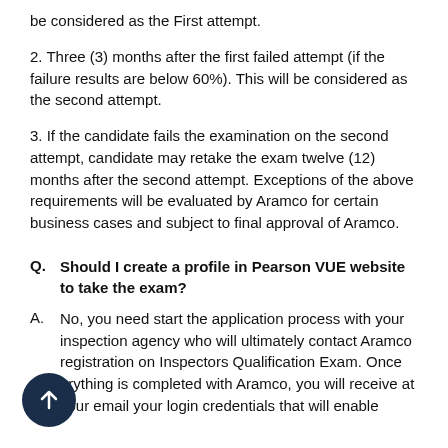be considered as the First attempt.
2. Three (3) months after the first failed attempt (if the failure results are below 60%). This will be considered as the second attempt.
3. If the candidate fails the examination on the second attempt, candidate may retake the exam twelve (12) months after the second attempt. Exceptions of the above requirements will be evaluated by Aramco for certain business cases and subject to final approval of Aramco.
Q. Should I create a profile in Pearson VUE website to take the exam?
A. No, you need start the application process with your inspection agency who will ultimately contact Aramco registration on Inspectors Qualification Exam. Once everything is completed with Aramco, you will receive at your email your login credentials that will enable